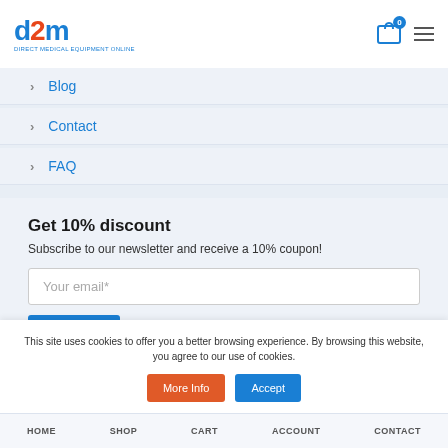[Figure (logo): d2m logo - Direct Medical Equipment Online, blue and orange]
Blog
Contact
FAQ
Get 10% discount
Subscribe to our newsletter and receive a 10% coupon!
Your email*
SIGN UP
This site uses cookies to offer you a better browsing experience. By browsing this website, you agree to our use of cookies.
HOME  SHOP  CART  ACCOUNT  CONTACT